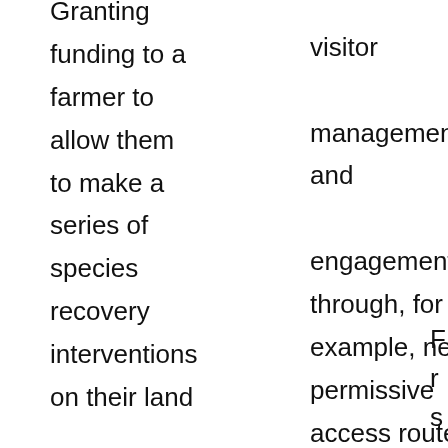Granting funding to a farmer to allow them to make a series of species recovery interventions on their land
improving visitor management and engagement through, for example, new permissive access routes, improvements to existing routes to
F r s c